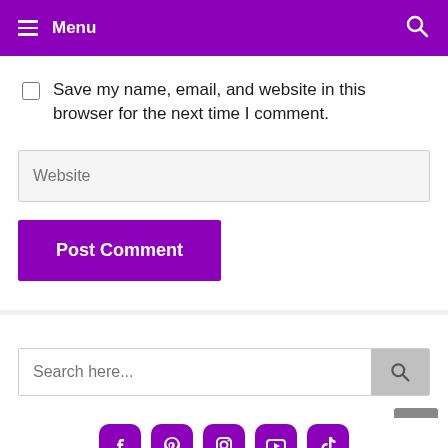Menu
Save my name, email, and website in this browser for the next time I comment.
Website
Post Comment
Search here...
[Figure (illustration): Scroll to top button (grey arrow up)]
[Figure (infographic): Social media icons: Facebook, Pinterest, Instagram, YouTube, TikTok — purple rounded squares]